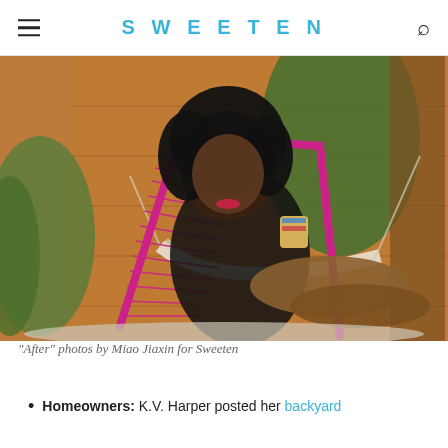SWEETEN
[Figure (photo): Woman with curly black hair and red lipstick, wearing a black outfit, relaxing in a pink woven lounge chair in a backyard setting with wooden fence and tropical plants behind her, holding a decorative cup/mug.]
“After” photos by Miao Jiaxin for Sweeten
Homeowners: K.V. Harper posted her backyard